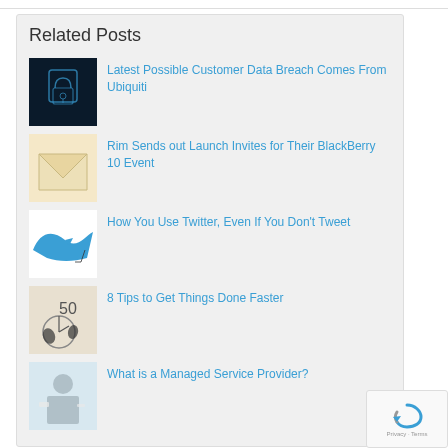Related Posts
Latest Possible Customer Data Breach Comes From Ubiquiti
Rim Sends out Launch Invites for Their BlackBerry 10 Event
How You Use Twitter, Even If You Don't Tweet
8 Tips to Get Things Done Faster
What is a Managed Service Provider?